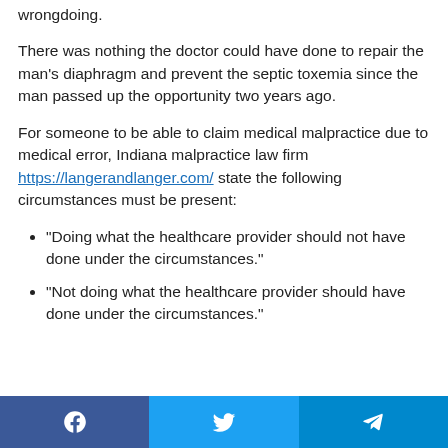wrongdoing.
There was nothing the doctor could have done to repair the man's diaphragm and prevent the septic toxemia since the man passed up the opportunity two years ago.
For someone to be able to claim medical malpractice due to medical error, Indiana malpractice law firm https://langerandlanger.com/ state the following circumstances must be present:
“Doing what the healthcare provider should not have done under the circumstances.”
“Not doing what the healthcare provider should have done under the circumstances.”
Facebook | Twitter | Telegram